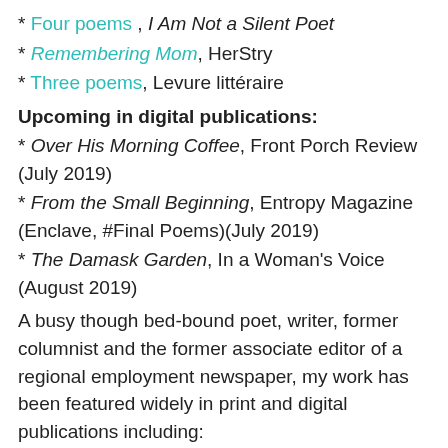* Four poems , I Am Not a Silent Poet
* Remembering Mom, HerStry
* Three poems, Levure littéraire
Upcoming in digital publications:
* Over His Morning Coffee, Front Porch Review (July 2019)
* From the Small Beginning, Entropy Magazine (Enclave, #Final Poems)(July 2019)
* The Damask Garden, In a Woman's Voice (August 2019)
A busy though bed-bound poet, writer, former columnist and the former associate editor of a regional employment newspaper, my work has been featured widely in print and digital publications including:
Ramingo's Porch, Vita Brevis Literature, Connotation